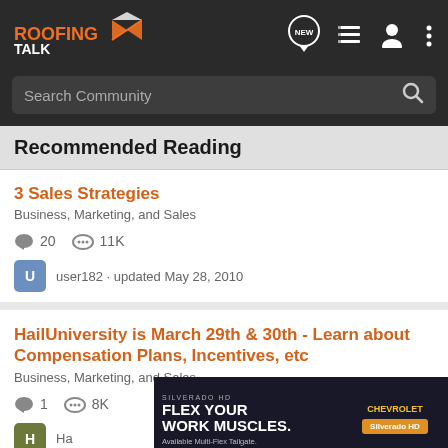[Figure (logo): Roofing Talk logo with orange text and roof icon on dark background navigation bar with search icons]
Recommended Reading
3 Sales Strategies
Business, Marketing, and Sales
20 comments · 11K views
user182 · updated May 28, 2010
HailUniversity is March 29th & 30th - Learn about Compensation Plans, Incentives, etc
Business, Marketing, and Sales
1 comment
[Figure (photo): Chevrolet Silverado HD advertisement: FLEX YOUR WORK MUSCLES. Available Multi-Flex Tailgate. Shows truck image with Chevrolet and Silverado HD branding.]